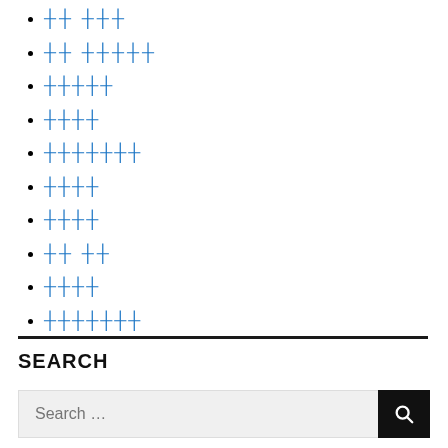�� ��� (tofu/replacement characters, blue boxed)
�� ����� (bold tofu, blue boxed)
�����
����
�������
����
����
�� �� (bold tofu, blue boxed)
����
�������
SEARCH